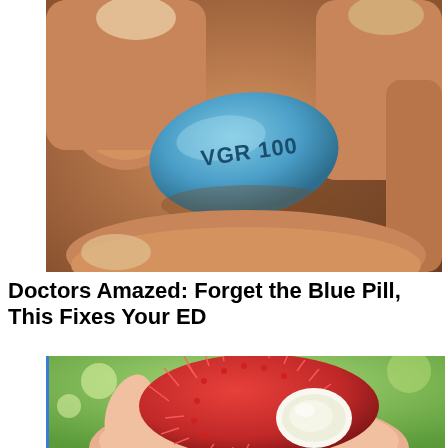[Figure (photo): Close-up photo of fingers holding a blue diamond-shaped pill labeled VGR 100 (Viagra/sildenafil)]
Doctors Amazed: Forget the Blue Pill, This Fixes Your ED
[Figure (photo): Photo of a hand holding an open rambutan fruit showing red spiky exterior and white interior flesh, with green foliage in the background]